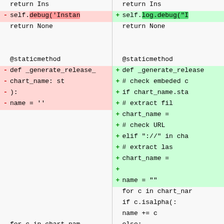[Figure (screenshot): Side-by-side code diff showing two versions of Python code. Left side shows deleted lines (red background) with '-' markers and right side shows added lines (green background) with '+' markers. The diff covers a portion of a Python class including self.debug vs self.log.debug, a _generate_release_ method definition, and surrounding code.]